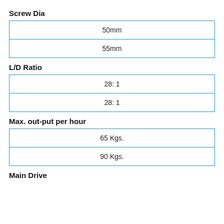Screw Dia
| 50mm |
| 55mm |
L/D Ratio
| 28: 1 |
| 28: 1 |
Max. out-put per hour
| 65 Kgs. |
| 90 Kgs. |
Main Drive